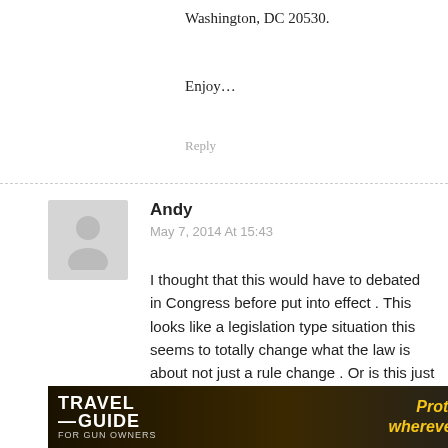Washington, DC 20530.
Enjoy…
Reply
Andy
May 7, 2014 At 15:43
I thought that this would have to debated in Congress before put into effect . This looks like a legislation type situation this seems to totally change what the law is about not just a rule change . Or is this just Boobama trying to usurp the Constitution , and further his communistic agenda ? Be prepared and ready . Keep your powder dry .
Reply
[Figure (infographic): Travel Guide for Gun Owners advertisement banner with text 'Protect yourself wherever you go.' and US LawShield branding]